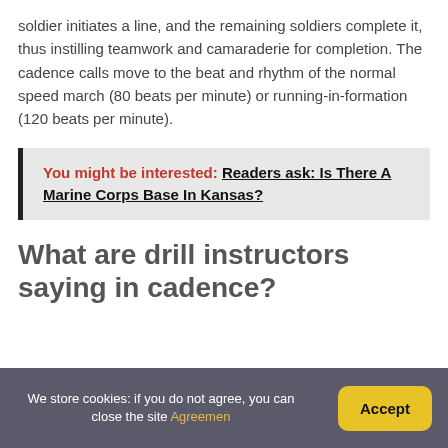soldier initiates a line, and the remaining soldiers complete it, thus instilling teamwork and camaraderie for completion. The cadence calls move to the beat and rhythm of the normal speed march (80 beats per minute) or running-in-formation (120 beats per minute).
You might be interested: Readers ask: Is There A Marine Corps Base In Kansas?
What are drill instructors saying in cadence?
We store cookies: if you do not agree, you can close the site Agreemen